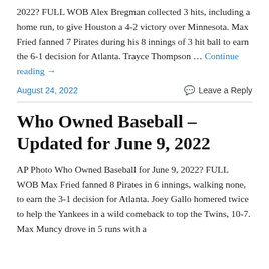2022? FULL WOB Alex Bregman collected 3 hits, including a home run, to give Houston a 4-2 victory over Minnesota. Max Fried fanned 7 Pirates during his 8 innings of 3 hit ball to earn the 6-1 decision for Atlanta. Trayce Thompson … Continue reading →
August 24, 2022
Leave a Reply
Who Owned Baseball – Updated for June 9, 2022
AP Photo Who Owned Baseball for June 9, 2022? FULL WOB Max Fried fanned 8 Pirates in 6 innings, walking none, to earn the 3-1 decision for Atlanta. Joey Gallo homered twice to help the Yankees in a wild comeback to top the Twins, 10-7. Max Muncy drove in 5 runs with a